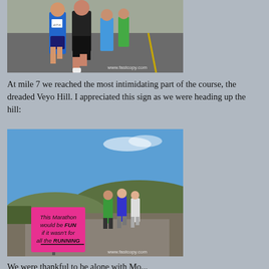[Figure (photo): Runners on a road during a marathon race, wearing race bibs. Watermark: www.fastcopy.com]
At mile 7 we reached the most intimidating part of the course, the dreaded Veyo Hill. I appreciated this sign as we were heading up the hill:
[Figure (photo): Runners heading up a hill on a road. A pink sign in the foreground reads: 'This Marathon would be FUN if it wasn't for all the RUNNING'. Watermark: www.fastcopy.com]
We were thankful to be alone with Mo...